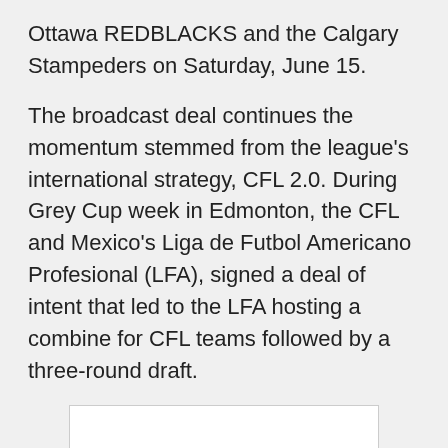Ottawa REDBLACKS and the Calgary Stampeders on Saturday, June 15.
The broadcast deal continues the momentum stemmed from the league's international strategy, CFL 2.0. During Grey Cup week in Edmonton, the CFL and Mexico's Liga de Futbol Americano Profesional (LFA), signed a deal of intent that led to the LFA hosting a combine for CFL teams followed by a three-round draft.
[Figure (other): A white rectangular image placeholder with a light gray border, partially visible at the bottom of the page.]